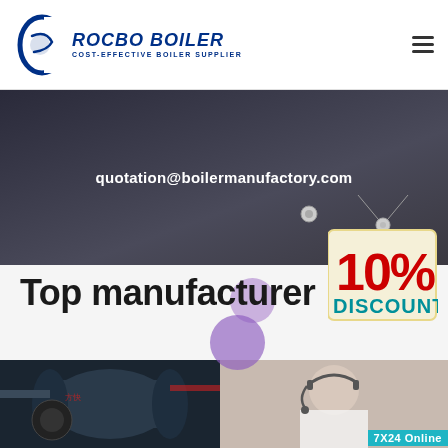[Figure (logo): Rocbo Boiler logo with circular C icon and text 'ROCBO BOILER' with tagline 'COST-EFFECTIVE BOILER SUPPLIER']
[Figure (screenshot): Dark industrial banner with email address 'quotation@boilermanufactory.com', a 10% DISCOUNT tag on the right side]
quotation@boilermanufactory.com
[Figure (infographic): 10% DISCOUNT promotional badge/tag]
Top manufacturer
[Figure (photo): Industrial boiler machinery (Fangkuai brand) and customer service representative with headset, with '7X24 Online' badge]